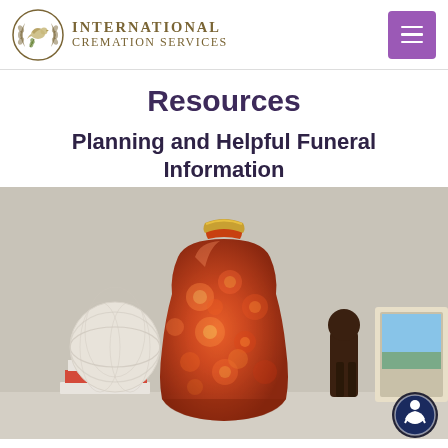International Cremation Services — navigation logo and menu button
Resources
Planning and Helpful Funeral Information
[Figure (photo): A large decorative red and orange floral-patterned cremation urn with a gold rim, displayed on a shelf alongside a white woven sphere decoration, stacked books, a dark wooden figurine, and a framed photo.]